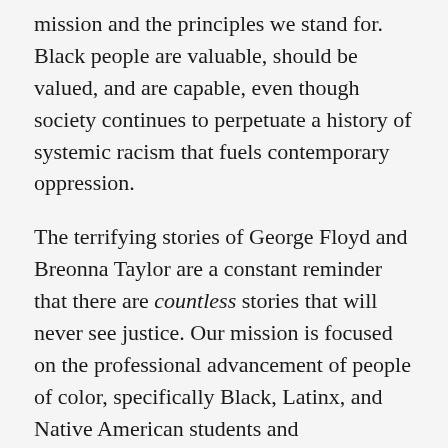mission and the principles we stand for. Black people are valuable, should be valued, and are capable, even though society continues to perpetuate a history of systemic racism that fuels contemporary oppression.
The terrifying stories of George Floyd and Breonna Taylor are a constant reminder that there are countless stories that will never see justice. Our mission is focused on the professional advancement of people of color, specifically Black, Latinx, and Native American students and professionals—and it is our honor to stand with the Black community and to speak up for all injustices targeting our members. Of all the emotions we currently feel, all of the merciless and wrongful killings leave us seeking answers to why this world continues to be cruel to a culture so powerful, inspiring, and brilliant.